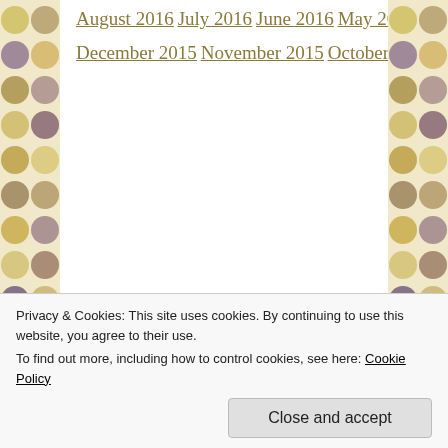August 2016
July 2016
June 2016
May 2016
April 2016
March 2016
February 2016
January 2016
December 2015
November 2015
October 2015
September 2015
Privacy & Cookies: This site uses cookies. By continuing to use this website, you agree to their use.
To find out more, including how to control cookies, see here: Cookie Policy
Close and accept